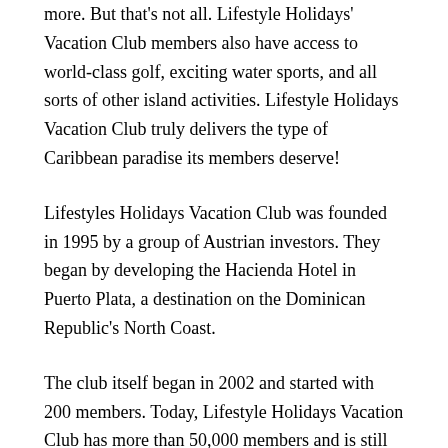more. But that's not all. Lifestyle Holidays' Vacation Club members also have access to world-class golf, exciting water sports, and all sorts of other island activities. Lifestyle Holidays Vacation Club truly delivers the type of Caribbean paradise its members deserve!
Lifestyles Holidays Vacation Club was founded in 1995 by a group of Austrian investors. They began by developing the Hacienda Hotel in Puerto Plata, a destination on the Dominican Republic's North Coast.
The club itself began in 2002 and started with 200 members. Today, Lifestyle Holidays Vacation Club has more than 50,000 members and is still growing! There are membership options that fit most budgets, and LHVC's dedicated staff is committed to making sure its members' every need is met.